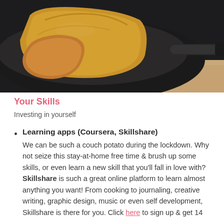[Figure (photo): Close-up photo of bread slices in a dark frying pan on a wooden surface]
Your Skills
Investing in yourself
Learning apps (Coursera, Skillshare)
We can be such a couch potato during the lockdown. Why not seize this stay-at-home free time & brush up some skills, or even learn a new skill that you'll fall in love with? Skillshare is such a great online platform to learn almost anything you want! From cooking to journaling, creative writing, graphic design, music or even self development, Skillshare is there for you. Click here to sign up & get 14